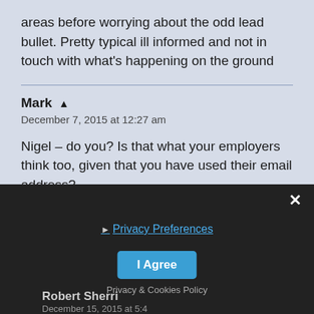areas before worrying about the odd lead bullet. Pretty typical ill informed and not in touch with what's happening on the ground
Mark
December 7, 2015 at 12:27 am
Nigel – do you? Is that what your employers think too, given that you have used their email address?
Privacy Preferences
I Agree
Privacy & Cookies Policy
Robert Sherri
December 15, 2015 at 5:4